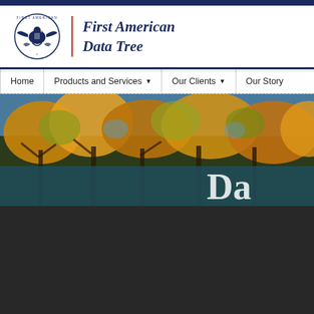[Figure (logo): First American Data Tree logo with eagle emblem and brand name]
Home | Products and Services ▼ | Our Clients ▼ | Our Story
[Figure (photo): Autumn tree canopy photo with teal/blue overlay banner showing partial large white text. Below the hero image is a dark/black section.]